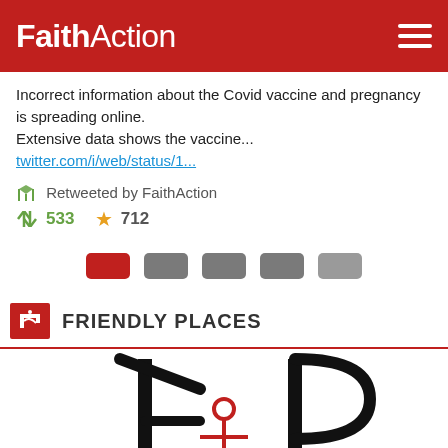FaithAction
Incorrect information about the Covid vaccine and pregnancy is spreading online.
Extensive data shows the vaccine...
twitter.com/i/web/status/1...
Retweeted by FaithAction
533  712
[Figure (other): Pagination dots: one red active dot followed by four gray dots]
FRIENDLY PLACES
[Figure (logo): Friendly Places logo — stylized black F and P letters with a red stick figure person in the center]